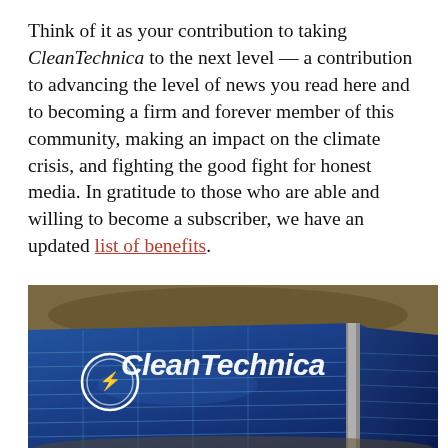Think of it as your contribution to taking CleanTechnica to the next level — a contribution to advancing the level of news you read here and to becoming a firm and forever member of this community, making an impact on the climate crisis, and fighting the good fight for honest media. In gratitude to those who are able and willing to become a subscriber, we have an updated list of benefits.
[Figure (photo): Aerial photo of a solar panel array with the CleanTechnica logo overlaid in white text on the solar panels.]